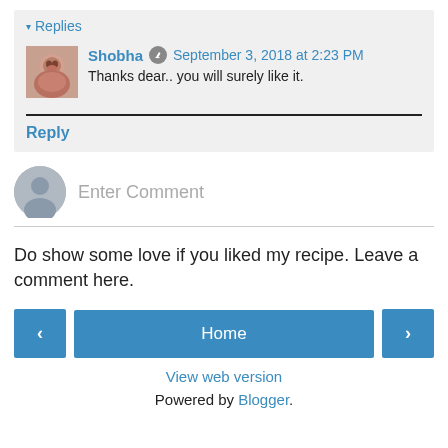▾ Replies
Shobha  September 3, 2018 at 2:23 PM
Thanks dear.. you will surely like it.
Reply
Enter Comment
Do show some love if you liked my recipe. Leave a comment here.
‹   Home   ›
View web version
Powered by Blogger.